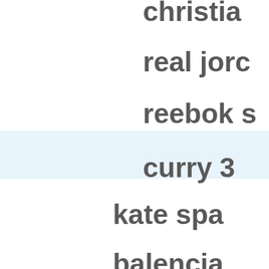christian
real jorc
reebok s
curry 3
kate spa
balencia
true reli
adidas i
goyard
golden g
veezy b